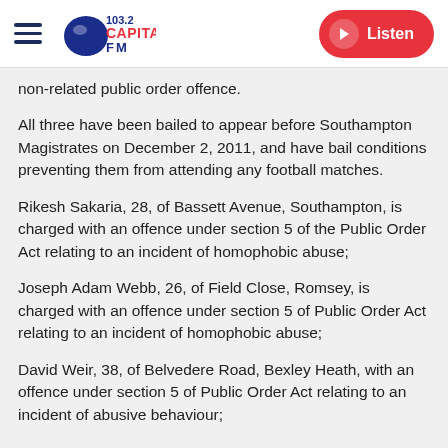103.2 Capital FM | Listen
non-related public order offence.
All three have been bailed to appear before Southampton Magistrates on December 2, 2011, and have bail conditions preventing them from attending any football matches.
Rikesh Sakaria, 28, of Bassett Avenue, Southampton, is charged with an offence under section 5 of the Public Order Act relating to an incident of homophobic abuse;
Joseph Adam Webb, 26, of Field Close, Romsey, is charged with an offence under section 5 of Public Order Act relating to an incident of homophobic abuse;
David Weir, 38, of Belvedere Road, Bexley Heath, with an offence under section 5 of Public Order Act relating to an incident of abusive behaviour;